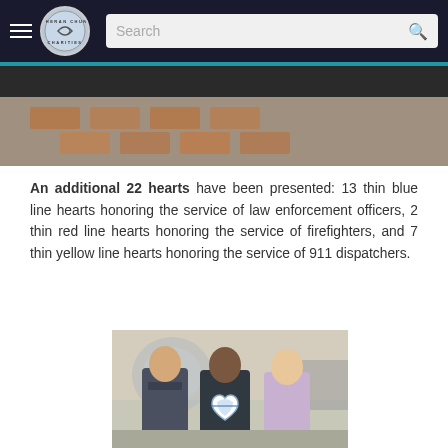Lutheran Church Charities – navigation bar with logo and search
[Figure (photo): A partial aerial/outdoor photo strip showing brick pavement, partially visible at the top of the content area]
An additional 22 hearts have been presented: 13 thin blue line hearts honoring the service of law enforcement officers, 2 thin red line hearts honoring the service of firefighters, and 7 thin yellow line hearts honoring the service of 911 dispatchers.
[Figure (photo): Three people standing together indoors — two women in law enforcement uniforms and one man in a light purple dress shirt. The middle person holds a large heart-shaped award with a thin blue line design. Background shows a diner or cafeteria interior.]